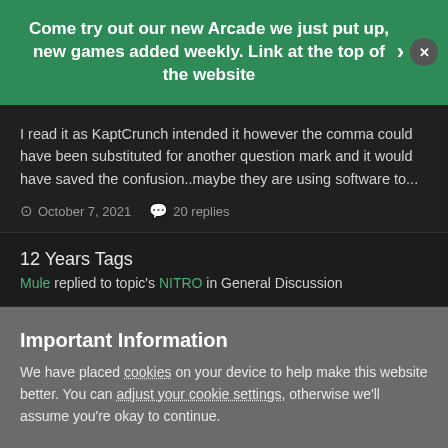Come try out our new Arcade we just put up, new games added weekly. Link at the top of the website
I read it as KaptCrunch intended it however the comma could have been substituted for another question mark and it would have saved the confusion..maybe they are using software to...
October 7, 2021   20 replies
12 Years Tags
Mule replied to topic's NITRO in General Discussion
Important Information
We have placed cookies on your device to help make this website better. You can adjust your cookie settings, otherwise we'll assume you're okay to continue.
✓  I accept